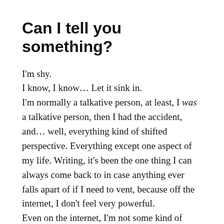Can I tell you something?
I'm shy.
I know, I know… Let it sink in.
I'm normally a talkative person, at least, I was a talkative person, then I had the accident, and… well, everything kind of shifted perspective. Everything except one aspect of my life. Writing, it's been the one thing I can always come back to in case anything ever falls apart of if I need to vent, because off the internet, I don't feel very powerful.
Even on the internet, I'm not some kind of Demiinfluencer, or star, or anything like that.
I'm just me.